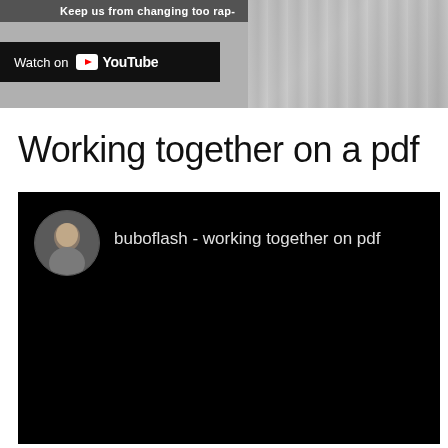[Figure (screenshot): Top portion of a YouTube video embed showing 'Keep us from changing too rap-' text at top, with a 'Watch on YouTube' button overlay and a thumbnail on the right side.]
Working together on a pdf
[Figure (screenshot): YouTube video embed with black background showing a circular avatar of a person and the text 'buboflash - working together on pdf']